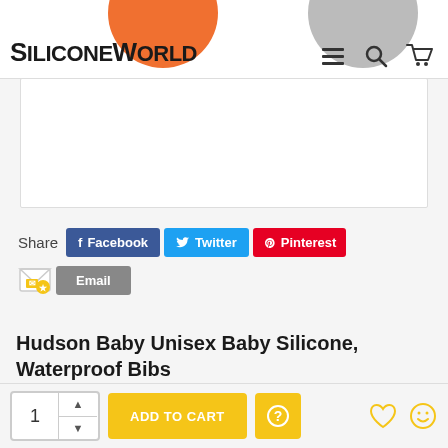SiliconeWorld
[Figure (screenshot): White product image placeholder box]
Share  Facebook  Twitter  Pinterest  Email
Hudson Baby Unisex Baby Silicone, Waterproof Bibs
Availability: IN STOCK
Product Code: WS8513
1  ADD TO CART